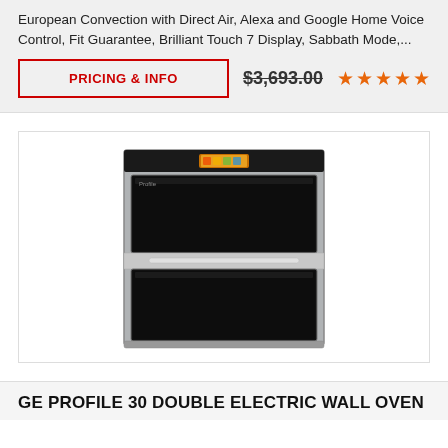European Convection with Direct Air, Alexa and Google Home Voice Control, Fit Guarantee, Brilliant Touch 7 Display, Sabbath Mode,...
PRICING & INFO
$3,693.00
[Figure (photo): GE Profile 30 double electric wall oven, stainless steel finish, with touch display at top]
GE PROFILE 30 DOUBLE ELECTRIC WALL OVEN